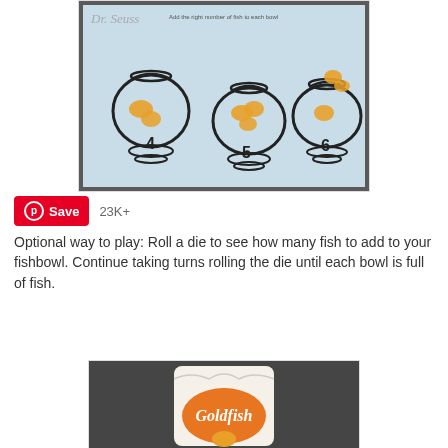[Figure (photo): A Dr. Seuss themed worksheet showing fishbowls numbered 4, 5, and 6 with Goldfish crackers placed inside as counting manipulatives. The worksheet has a light blue background with hand-drawn style fishbowls.]
Save  23K+
Optional way to play: Roll a die to see how many fish to add to your fishbowl. Continue taking turns rolling the die until each bowl is full of fish.
[Figure (photo): A bag of Pepperidge Farm Goldfish crackers on a dark background.]